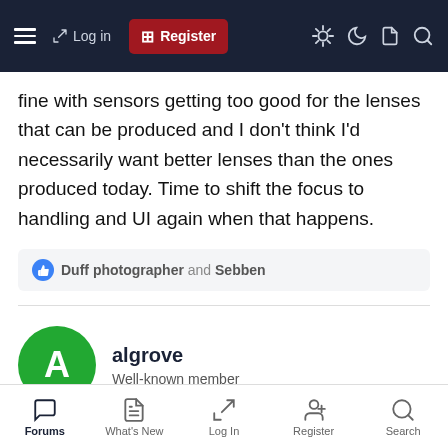Log in | Register — forum navigation bar
fine with sensors getting too good for the lenses that can be produced and I don't think I'd necessarily want better lenses than the ones produced today. Time to shift the focus to handling and UI again when that happens.
Duff photographer and Sebben
algrove
Well-known member
Jan 10, 2022  #17
Electronic shutter will be interesting. No ND filters on fast lenses. I only have one. Might need more fast lenses. Classic
Forums | What's New | Log In | Register | Search